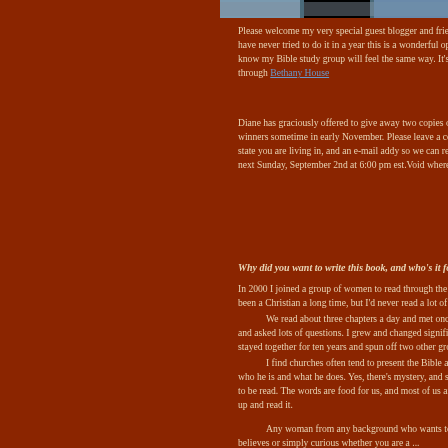[Figure (photo): Partial photo strip at top of page showing people]
Please welcome my very special guest blogger and friend. If you have never tried to do it in a year this is a wonderful opportu... know my Bible study group will feel the same way. It's called ... through Bethany House
Diane has graciously offered to give away two copies of her b... winners sometime in early November. Please leave a comm... state you are living in, and an e-mail addy so we can reach y... next Sunday, September 2nd at 6:00 pm est.Void where pro...
Why did you want to write this book, and who's it for?
In 2000 I joined a group of women to read through the Bible i... been a Christian a long time, but I'd never read a lot of the Bi...
We read about three chapters a day and met once a we... and asked lots of questions. I grew and changed significantly... stayed together for ten years and spun off two other groups...
I find churches often tend to present the Bible as a boo... who he is and what he does. Yes, there's mystery, and som... to be read. The words are food for us, and most of us are st... up and read it.
Any woman from any background who wants to read th... believes or simply curious whether you are a ...